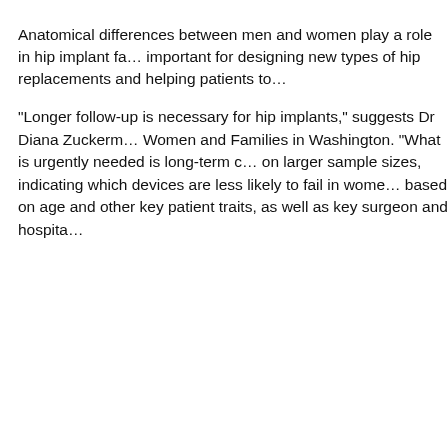Anatomical differences between men and women play a role in hip implant fa… important for designing new types of hip replacements and helping patients to…
“Longer follow-up is necessary for hip implants,” suggests Dr Diana Zuckerm… Women and Families in Washington. “What is urgently needed is long-term c… on larger sample sizes, indicating which devices are less likely to fail in wome… based on age and other key patient traits, as well as key surgeon and hospita…